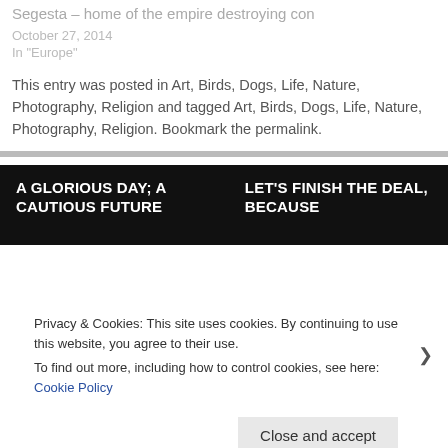Segesta – home of the empire destroying con
October 27, 2014
In "Europe"
This entry was posted in Art, Birds, Dogs, Life, Nature, Photography, Religion and tagged Art, Birds, Dogs, Life, Nature, Photography, Religion. Bookmark the permalink.
A GLORIOUS DAY; A CAUTIOUS FUTURE
LET'S FINISH THE DEAL, BECAUSE
Privacy & Cookies: This site uses cookies. By continuing to use this website, you agree to their use. To find out more, including how to control cookies, see here: Cookie Policy
Close and accept